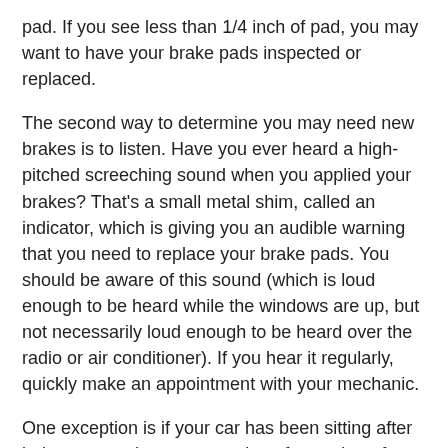pad. If you see less than 1/4 inch of pad, you may want to have your brake pads inspected or replaced.
The second way to determine you may need new brakes is to listen. Have you ever heard a high-pitched screeching sound when you applied your brakes? That's a small metal shim, called an indicator, which is giving you an audible warning that you need to replace your brake pads. You should be aware of this sound (which is loud enough to be heard while the windows are up, but not necessarily loud enough to be heard over the radio or air conditioner). If you hear it regularly, quickly make an appointment with your mechanic.
One exception is if your car has been sitting after being exposed to water, such as from rain or from washing it. The moisture can cause a thin layer of rust to develop on the brake rotors. This is normal. When you first apply the brakes, the pads pressing on the rust-covered rotors may cause a squeal for a few stops until the rust is worn off and then the sound will disappear.
Here are some other signs of brake problems. If you experience any